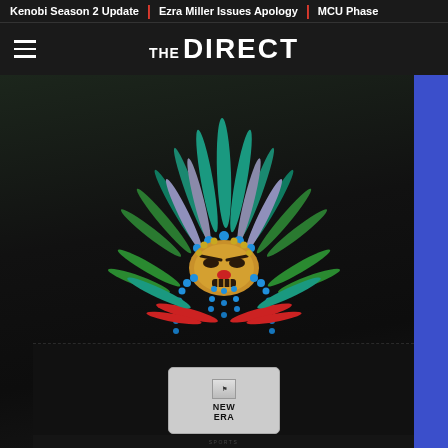Kenobi Season 2 Update | Ezra Miller Issues Apology | MCU Phase
THE DIRECT
[Figure (photo): Close-up of a black New Era snapback hat with a colorful embroidered Aztec-style warrior/deity mask design featuring teal, green, blue, gold, red feathers and headdress elements on the front panel. The New Era logo patch is visible on the brim.]